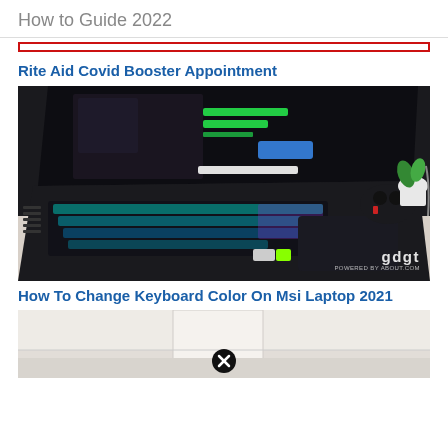How to Guide 2022
[Figure (screenshot): Red-bordered bar/banner image cropped at top]
Rite Aid Covid Booster Appointment
[Figure (photo): MSI gaming laptop with RGB keyboard backlight, open on a desk with a game controller in background, watermark 'gdgt' in bottom right]
How To Change Keyboard Color On Msi Laptop 2021
[Figure (photo): Partially visible room/interior image at bottom, cropped, with a circular close/X button overlay]